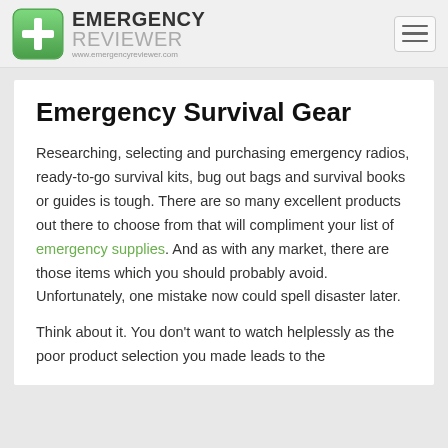EMERGENCY REVIEWER www.emergencyreviewer.com
Emergency Survival Gear
Researching, selecting and purchasing emergency radios, ready-to-go survival kits, bug out bags and survival books or guides is tough. There are so many excellent products out there to choose from that will compliment your list of emergency supplies. And as with any market, there are those items which you should probably avoid. Unfortunately, one mistake now could spell disaster later.
Think about it. You don't want to watch helplessly as the poor product selection you made leads to the